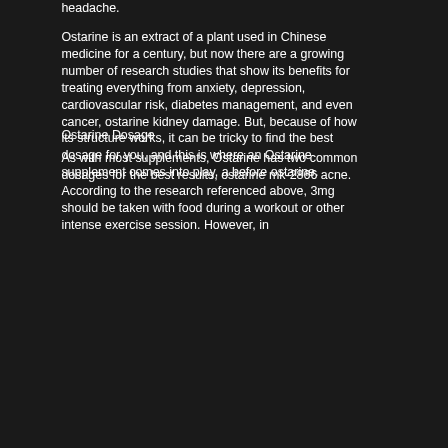headache.
Ostarine is an extract of a plant used in Chinese medicine for a century, but now there are a growing number of research studies that show its benefits for treating everything from anxiety, depression, cardiovascular risk, diabetes management, and even cancer, ostarine kidney damage. But, because of how its structure works, it can be tricky to find the best dosage for you, and this is where an Ostarine supplement comes into play, a before ostarine.
Ostarine Dosage
As with most supplements, Ostarine has two common dosages for the best results, ostarine mk-2866 acne. According to the research referenced above, 3mg should be taken with food during a workout or other intense exercise session. However, in